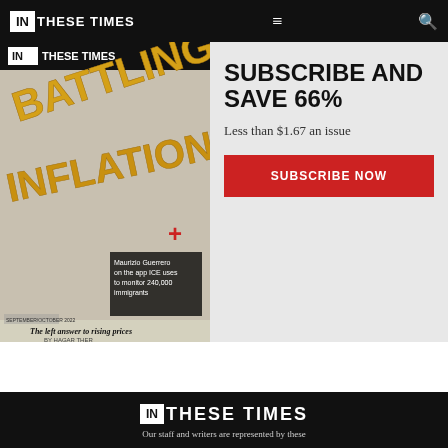IN THESE TIMES
[Figure (illustration): In These Times magazine cover featuring golden balloon-style letters spelling BATTLING INFLATION with subtitle 'The left answer to rising prices' by Hagar Ther, plus a smaller overlay caption reading 'Maurizio Guerrero on the app ICE uses to monitor 240,000 immigrants']
SUBSCRIBE AND SAVE 66%
Less than $1.67 an issue
SUBSCRIBE NOW
[Figure (logo): IN THESE TIMES logo in white on black background]
Our staff and writers are represented by these